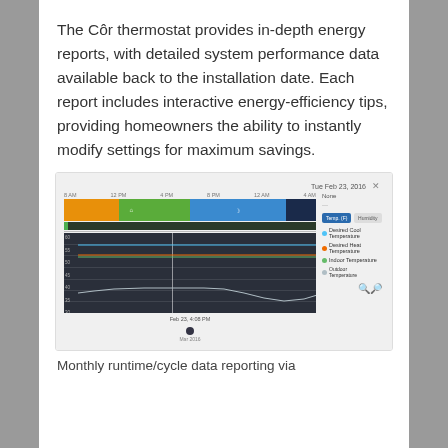The Côr thermostat provides in-depth energy reports, with detailed system performance data available back to the installation date. Each report includes interactive energy-efficiency tips, providing homeowners the ability to instantly modify settings for maximum savings.
[Figure (screenshot): Screenshot of Côr thermostat app showing daily schedule bar with orange, green, and blue segments, a small runtime bar, and a temperature chart with multiple lines (desired cool, desired heat, indoor temperature, outdoor temperature) plotted over a 24-hour period. Right panel shows Temp/Humidity toggle buttons and a color legend.]
Monthly runtime/cycle data reporting via